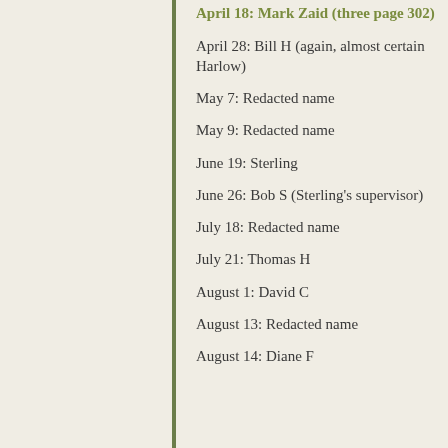April 18: Mark Zaid (three page 302)
April 28: Bill H (again, almost certain Harlow)
May 7: Redacted name
May 9: Redacted name
June 19: Sterling
June 26: Bob S (Sterling's supervisor)
July 18: Redacted name
July 21: Thomas H
August 1: David C
August 13: Redacted name
August 14: Diane F